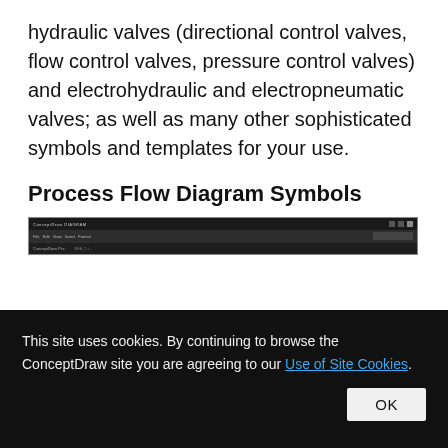hydraulic valves (directional control valves, flow control valves, pressure control valves) and electrohydraulic and electropneumatic valves; as well as many other sophisticated symbols and templates for your use.
Process Flow Diagram Symbols
[Figure (screenshot): Screenshot of ConceptDraw software application window showing the toolbar and interface with dark title bar and menu bar.]
This site uses cookies. By continuing to browse the ConceptDraw site you are agreeing to our Use of Site Cookies.